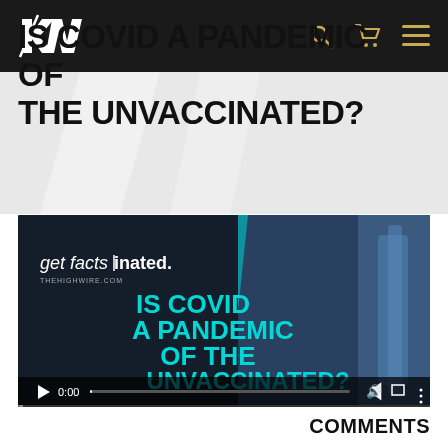HW (HighWire) logo with navigation icons
IS COVID A PANDEMIC OF THE UNVACCINATED?
[Figure (screenshot): Video player thumbnail showing 'get facts(inated). thehighwire.com' text on left side and 'IS COVID A PANDEMIC OF THE UNVACCINATED?' in teal/cyan text on right side overlaid on a medical/vaccine background image. Video controls show play button, 0:00 timestamp, volume and fullscreen icons.]
COMMENTS